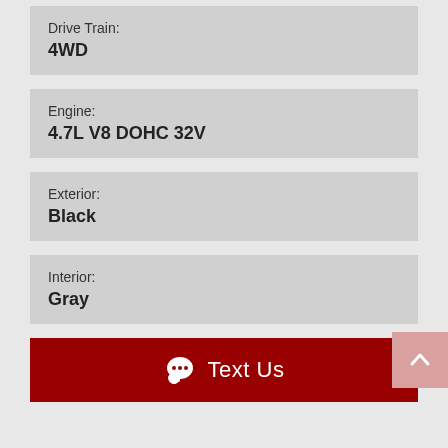Drive Train: 4WD
Engine: 4.7L V8 DOHC 32V
Exterior: Black
Interior: Gray
Text Us